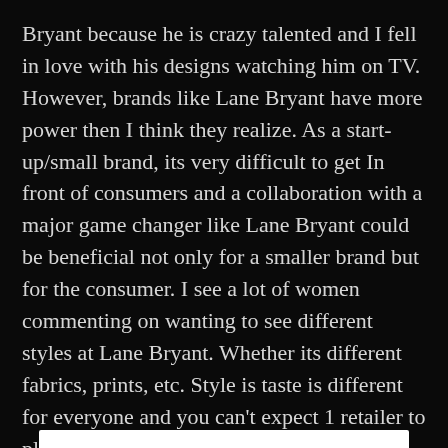Bryant because he is crazy talented and I fell in love with his designs watching him on TV. However, brands like Lane Bryant have more power then I think they realize. As a start-up/small brand, its very difficult to get In front of consumers and a collaboration with a major game changer like Lane Bryant could be beneficial not only for a smaller brand but for the consumer. I see a lot of women commenting on wanting to see different styles at Lane Bryant. Whether its different fabrics, prints, etc. Style is taste is different for everyone and you can't expect 1 retailer to please everyone, but a small brand collaboration would be one way to offer more variety and help catapult the next big plus size fashion designer/brand. I wouldn't mind if Rose Riot was Lane Bryant's guinea pig.